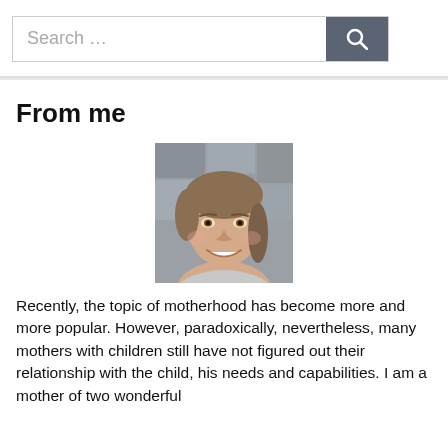Search …
From me
[Figure (photo): Portrait photo of a young woman with brown hair pulled back, smiling, in front of a blurred stone wall background.]
Recently, the topic of motherhood has become more and more popular. However, paradoxically, nevertheless, many mothers with children still have not figured out their relationship with the child, his needs and capabilities. I am a mother of two wonderful